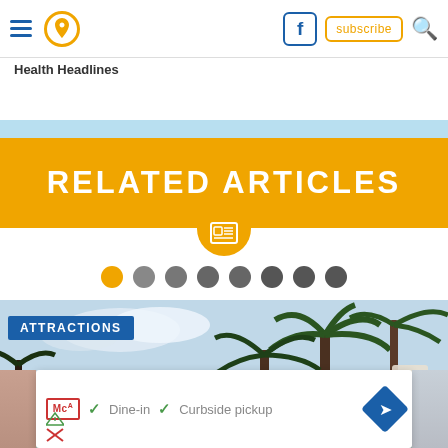Health Headlines
RELATED ARTICLES
[Figure (screenshot): Article thumbnail with palm trees and blue sky, ATTRACTIONS badge overlay]
[Figure (infographic): Ad overlay showing McA logo, Dine-in, Curbside pickup options with map arrow icon]